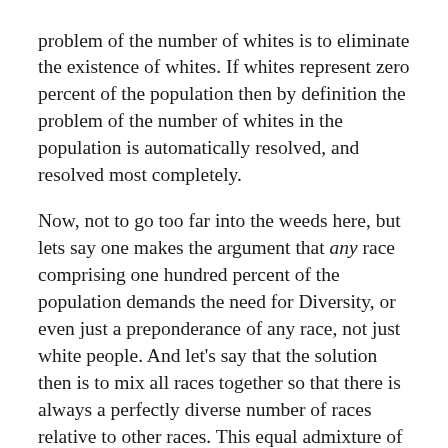problem of the number of whites is to eliminate the existence of whites. If whites represent zero percent of the population then by definition the problem of the number of whites in the population is automatically resolved, and resolved most completely.
Now, not to go too far into the weeds here, but lets say one makes the argument that any race comprising one hundred percent of the population demands the need for Diversity, or even just a preponderance of any race, not just white people. And let's say that the solution then is to mix all races together so that there is always a perfectly diverse number of races relative to other races. This equal admixture of distinct races inevitably and ironically gives way to offspring which over time create an utterly homogenous population–the diverse racial genetics merging and producing individuals who share no significant genetic differences with respect to race. In this racially homogenous population, no racial diversity can